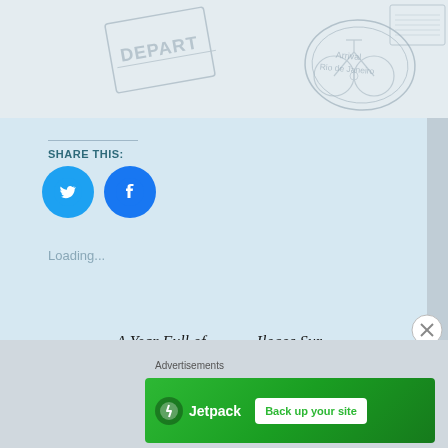[Figure (illustration): Header banner with travel-themed passport stamp illustrations including 'DEPART', 'Arrival Rio de Janeiro' text in gray sketch style on light background]
SHARE THIS:
[Figure (illustration): Two circular social media share buttons: Twitter (blue bird icon) and Facebook (blue f icon)]
Loading...
A Year Full of Discoveries 2017
Ilocos Sur
Advertisements
[Figure (illustration): Jetpack advertisement banner with green background, Jetpack logo on left and 'Back up your site' white button on right]